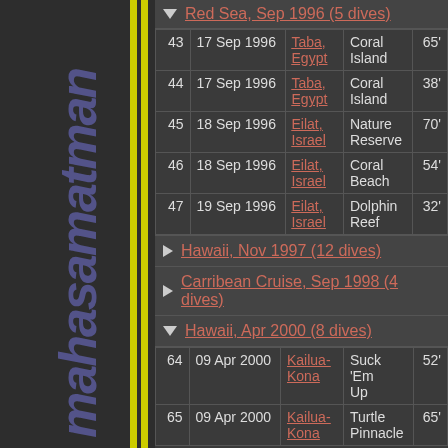Red Sea, Sep 1996 (5 dives)
| # | Date | Location | Site | Depth |
| --- | --- | --- | --- | --- |
| 43 | 17 Sep 1996 | Taba, Egypt | Coral Island | 65' |
| 44 | 17 Sep 1996 | Taba, Egypt | Coral Island | 38' |
| 45 | 18 Sep 1996 | Eilat, Israel | Nature Reserve | 70' |
| 46 | 18 Sep 1996 | Eilat, Israel | Coral Beach | 54' |
| 47 | 19 Sep 1996 | Eilat, Israel | Dolphin Reef | 32' |
Hawaii, Nov 1997 (12 dives)
Carribean Cruise, Sep 1998 (4 dives)
Hawaii, Apr 2000 (8 dives)
| # | Date | Location | Site | Depth |
| --- | --- | --- | --- | --- |
| 64 | 09 Apr 2000 | Kailua-Kona | Suck 'Em Up | 52' |
| 65 | 09 Apr 2000 | Kailua-Kona | Turtle Pinnacle | 65' |